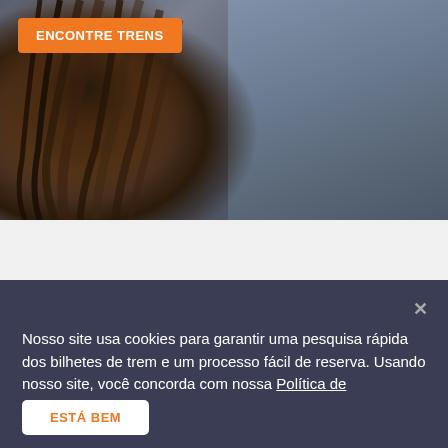[Figure (photo): Background photo of a person with dark hair, blurred background in blue-grey tones]
ENCONTRE TRENS
Nosso site usa cookies para garantir uma pesquisa rápida dos bilhetes de trem e um processo fácil de reserva. Usando nosso site, você concorda com nossa Política de Privacidade.
ESTÁ BEM